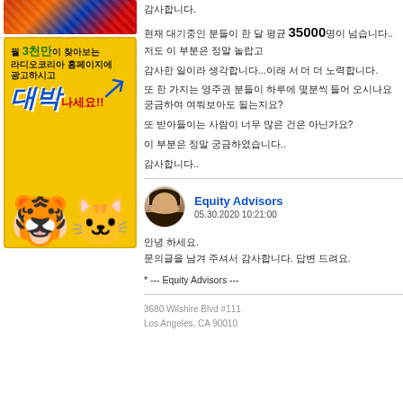[Figure (photo): Partial decorative image at top left, colorful fabric or flag pattern]
[Figure (illustration): Korean advertisement banner: yellow background with cartoon tigers, text '월 3천만이 찾아보는 라디오코리아 홈페이지에 광고하시고 대박 나세요!!']
감사합니다.
현재 대기중인 분들이 한 달 평균 35000명이 넘습니다..저도 이 부분은 정말 놀랍고
감사한 일이라 생각합니다...이래 서 더 더 노력합니다.
또 한 가지는 영주권 분들이 하루에 몇분씩 들어 오시나요 궁금하여 여쭤보아도 될는지요?
또 받아들이는 사람이 너무 많은 건은 아닌가요?
이 부분은 정말 궁금하였습니다..
감사합니다..
[Figure (photo): Circular avatar photo of a woman with dark hair]
Equity Advisors
05.30.2020 10:21:00
안녕 하세요.
문의글을 남겨 주셔서 감사합니다. 답변 드려요.
* --- Equity Advisors ---
3680 Wilshire Blvd #111
Los Angeles, CA 90010